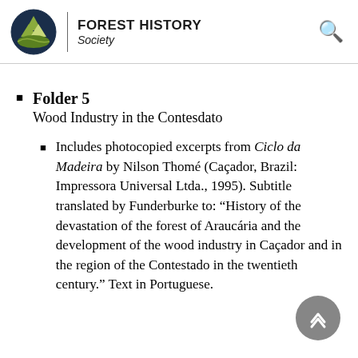FOREST HISTORY Society
Folder 5
Wood Industry in the Contesdato
Includes photocopied excerpts from Ciclo da Madeira by Nilson Thomé (Caçador, Brazil: Impressora Universal Ltda., 1995). Subtitle translated by Funderburke to: “History of the devastation of the forest of Araucária and the development of the wood industry in Caçador and in the region of the Contestado in the twentieth century.” Text in Portuguese.